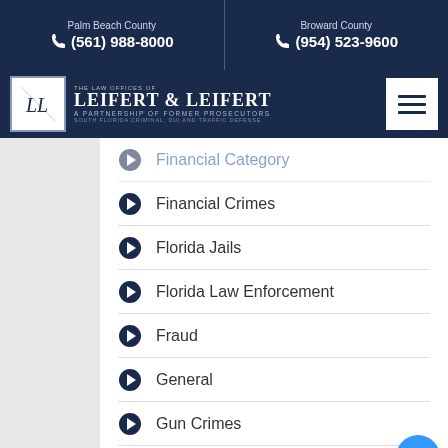Palm Beach County (561) 988-8000 | Broward County (954) 523-9600
[Figure (logo): Leifert & Leifert law firm logo with menu button]
Financial Category
Financial Crimes
Florida Jails
Florida Law Enforcement
Fraud
General
Gun Crimes
Hit and Run